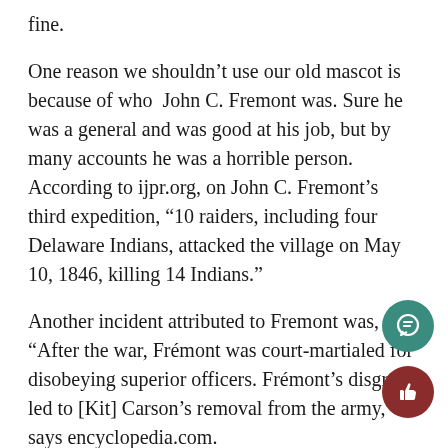fine.
One reason we shouldn’t use our old mascot is because of who John C. Fremont was. Sure he was a general and was good at his job, but by many accounts he was a horrible person. According to ijpr.org, on John C. Fremont’s third expedition, “10 raiders, including four Delaware Indians, attacked the village on May 10, 1846, killing 14 Indians.”
Another incident attributed to Fremont was, “After the war, Frémont was court-martialed for disobeying superior officers. Frémont’s disgrace led to [Kit] Carson’s removal from the army,” says encyclopedia.com.
A problem with this is that RHS (Roseburg High School) just got the legal right to use the name